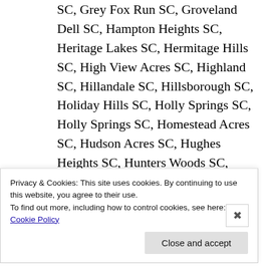SC, Grey Fox Run SC, Groveland Dell SC, Hampton Heights SC, Heritage Lakes SC, Hermitage Hills SC, High View Acres SC, Highland SC, Hillandale SC, Hillsborough SC, Holiday Hills SC, Holly Springs SC, Holly Springs SC, Homestead Acres SC, Hudson Acres SC, Hughes Heights SC, Hunters Woods SC, Huntington
Privacy & Cookies: This site uses cookies. By continuing to use this website, you agree to their use.
To find out more, including how to control cookies, see here: Cookie Policy
Close and accept